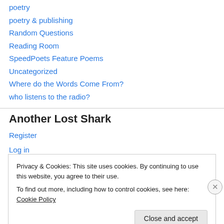poetry
poetry & publishing
Random Questions
Reading Room
SpeedPoets Feature Poems
Uncategorized
Where do the Words Come From?
who listens to the radio?
Another Lost Shark
Register
Log in
Privacy & Cookies: This site uses cookies. By continuing to use this website, you agree to their use.
To find out more, including how to control cookies, see here: Cookie Policy
Close and accept